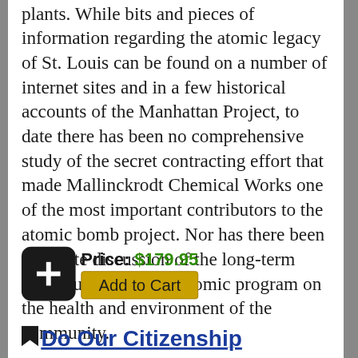plants. While bits and pieces of information regarding the atomic legacy of St. Louis can be found on a number of internet sites and in a few historical accounts of the Manhattan Project, to date there has been no comprehensive study of the secret contracting effort that made Mallinckrodt Chemical Works one of the most important contributors to the atomic bomb project. Nor has there been adequate discussion of the long-term consequences of this atomic program on the health and environment of the community.
Price: $179.95
Add to Cart
Do Our Citizenship Requirements Impede the